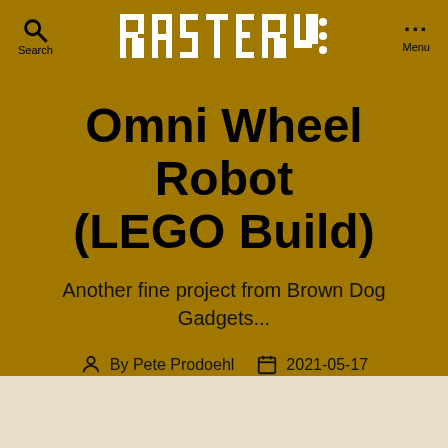RASTERWEB ... Search Menu
Omni Wheel Robot (LEGO Build)
Another fine project from Brown Dog Gadgets...
By Pete Prodoehl  2021-05-17